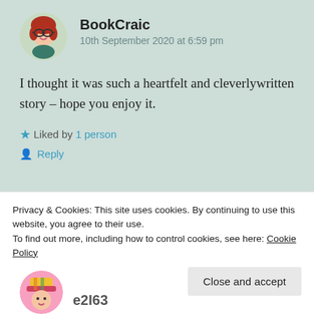[Figure (illustration): Round avatar illustration of a woman with red hair and glasses on a light green background]
BookCraic
10th September 2020 at 6:59 pm
I thought it was such a heartfelt and cleverlywritten story – hope you enjoy it.
★ Liked by 1 person
Reply
Privacy & Cookies: This site uses cookies. By continuing to use this website, you agree to their use.
To find out more, including how to control cookies, see here: Cookie Policy
Close and accept
[Figure (illustration): Partial round avatar illustration at the bottom of the page]
e2I63